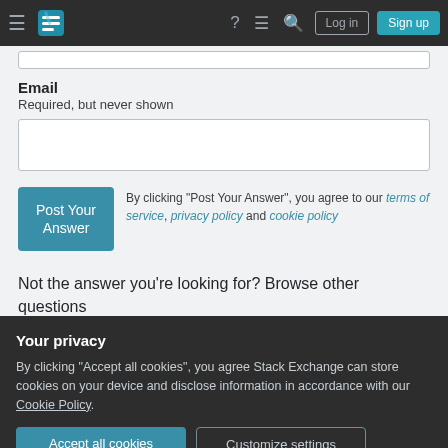Stack Exchange navigation bar with hamburger menu, logo, help, chat, search icons, Log in and Sign up buttons
Email
Required, but never shown
Post Your Answer
By clicking "Post Your Answer", you agree to our terms of service, privacy policy and cookie policy
Not the answer you're looking for? Browse other questions tagged qgis shapefile convert gpx garmin or ask your
Your privacy
By clicking "Accept all cookies", you agree Stack Exchange can store cookies on your device and disclose information in accordance with our Cookie Policy.
Accept all cookies
Customize settings
Environments on-demand (Ep. 479)